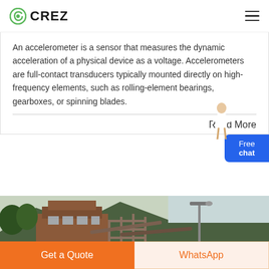[Figure (logo): CREZ brand logo with green C icon and bold black CREZ text]
An accelerometer is a sensor that measures the dynamic acceleration of a physical device as a voltage. Accelerometers are full-contact transducers typically mounted directly on high-frequency elements, such as rolling-element bearings, gearboxes, or spinning blades.
Read More
[Figure (photo): Outdoor industrial facility with a multi-story building, metal framework structures, conveyor belts, a lamppost, and mountains with green trees in the background under an overcast sky.]
Get a Quote
WhatsApp